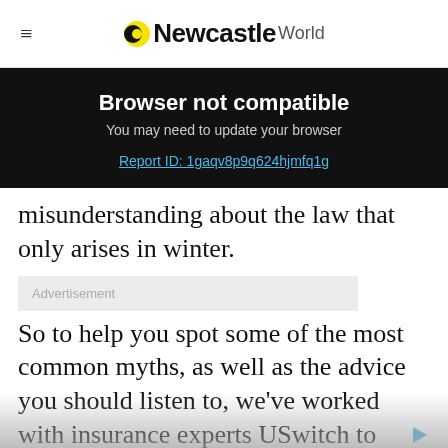Newcastle World
Browser not compatible
You may need to update your browser
Report ID: 1gaqv8p9q624hjmfq1g
misunderstanding about the law that only arises in winter.
Advertisement
So to help you spot some of the most common myths, as well as the advice you should listen to, we've worked with insurance experts USwitch to break down the truth.
It's illegal to drive in wellies